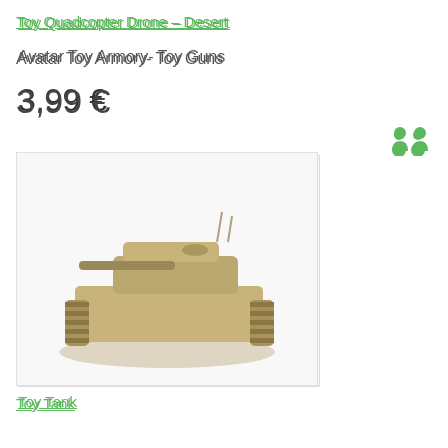Toy Quadcopter Drone - Desert
Avatar Toy Armory- Toy Guns
3,99 €
[Figure (photo): 3D render of a toy military tank in desert tan color on a light background]
Toy Tank
Military- Props
1,99 €